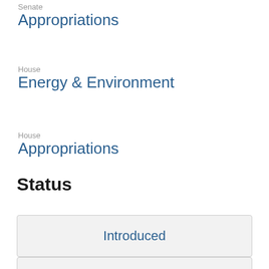Senate
Appropriations
House
Energy & Environment
House
Appropriations
Status
Introduced
Passed